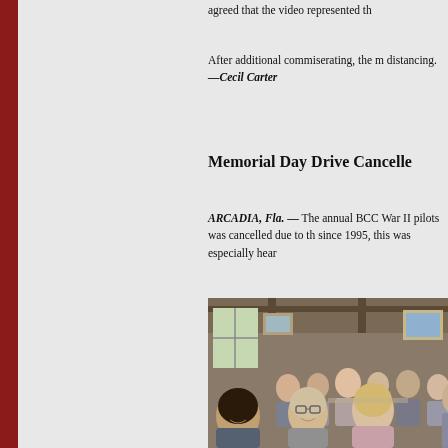agreed that the video represented th
After additional commiserating, the m distancing. —Cecil Carter
Memorial Day Drive Cancelle
ARCADIA, Fla. — The annual BCC War II pilots was cancelled due to th since 1995, this was especially hear
[Figure (photo): Group photo of people gathered in a restaurant or dining hall, smiling at camera, with artwork on walls in background]